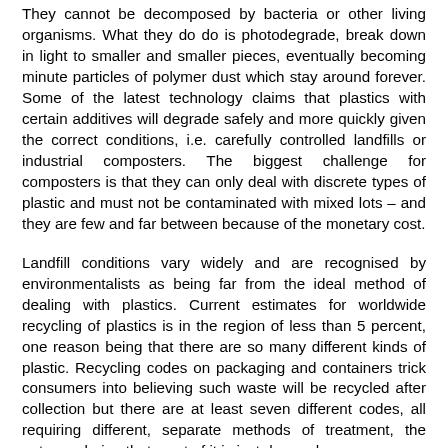They cannot be decomposed by bacteria or other living organisms. What they do do is photodegrade, break down in light to smaller and smaller pieces, eventually becoming minute particles of polymer dust which stay around forever. Some of the latest technology claims that plastics with certain additives will degrade safely and more quickly given the correct conditions, i.e. carefully controlled landfills or industrial composters. The biggest challenge for composters is that they can only deal with discrete types of plastic and must not be contaminated with mixed lots – and they are few and far between because of the monetary cost.
Landfill conditions vary widely and are recognised by environmentalists as being far from the ideal method of dealing with plastics. Current estimates for worldwide recycling of plastics is in the region of less than 5 percent, one reason being that there are so many different kinds of plastic. Recycling codes on packaging and containers trick consumers into believing such waste will be recycled after collection but there are at least seven different codes, all requiring different, separate methods of treatment, the outcome being that most of it is just dumped.
As to how much is dumped it is probably impossible to say, however one recent estimate gives a figure of 65lbs of plastic waste per capita per annum in the USA. If we were to take a per capita figure for the whole of worldwide population of just 1lb per annum, 95 percent of which would be dumped